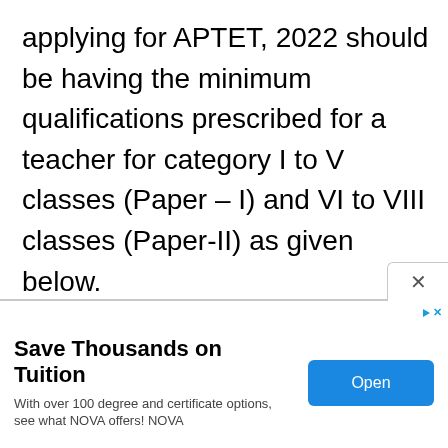applying for APTET, 2022 should be having the minimum qualifications prescribed for a teacher for category I to V classes (Paper – I) and VI to VIII classes (Paper-II) as given below.
[Figure (other): Advertisement banner: 'Save Thousands on Tuition' with subtext 'With over 100 degree and certificate options, see what NOVA offers! NOVA' and an 'Open' button. Includes close (X) button and ad indicator (play/X icons).]